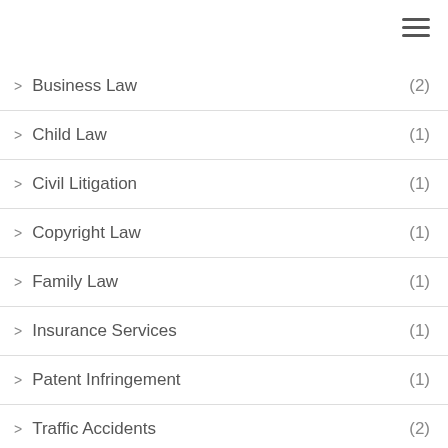[Figure (other): Hamburger menu icon (three horizontal lines) in top-right corner]
> Business Law (2)
> Child Law (1)
> Civil Litigation (1)
> Copyright Law (1)
> Family Law (1)
> Insurance Services (1)
> Patent Infringement (1)
> Traffic Accidents (2)